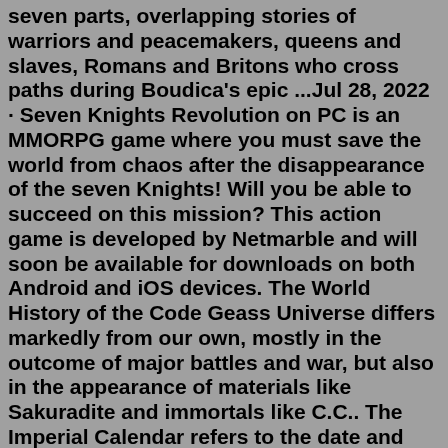seven parts, overlapping stories of warriors and peacemakers, queens and slaves, Romans and Britons who cross paths during Boudica's epic ...Jul 28, 2022 · Seven Knights Revolution on PC is an MMORPG game where you must save the world from chaos after the disappearance of the seven Knights! Will you be able to succeed on this mission? This action game is developed by Netmarble and will soon be available for downloads on both Android and iOS devices. The World History of the Code Geass Universe differs markedly from our own, mostly in the outcome of major battles and war, but also in the appearance of materials like Sakuradite and immortals like C.C.. The Imperial Calendar refers to the date and setting Code Geass uses in the English version, in which years are labeled as a.t.b or "Ascension Throne Britannia". It is set to the date the ...Jul 22, 2016 · It stood as a strong statement by Herod that the God of the Jews truly ranked above all others. I say it was the “Second” temple because the first, built by King Solomon, had been destroyed by invading